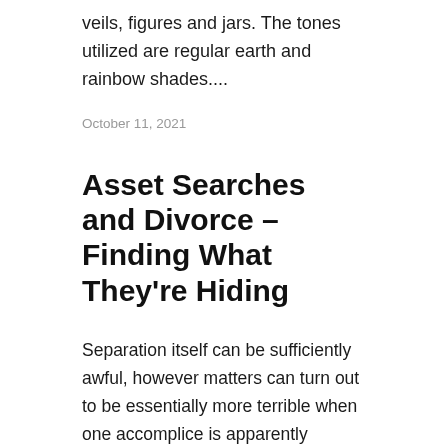veils, figures and jars. The tones utilized are regular earth and rainbow shades....
October 11, 2021
Asset Searches and Divorce – Finding What They're Hiding
Separation itself can be sufficiently awful, however matters can turn out to be essentially more terrible when one accomplice is apparently retaining resources, or data about those resources, from the other. Sadly, the demonstration of concealing resources in